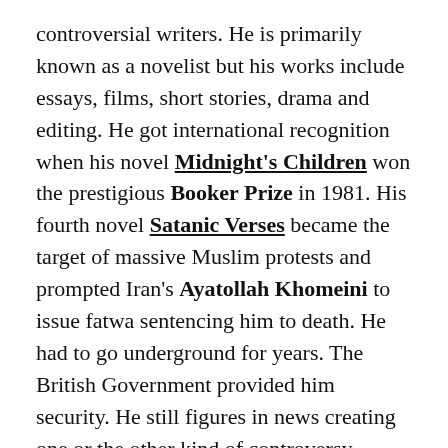controversial writers. He is primarily known as a novelist but his works include essays, films, short stories, drama and editing. He got international recognition when his novel Midnight's Children won the prestigious Booker Prize in 1981. His fourth novel Satanic Verses became the target of massive Muslim protests and prompted Iran's Ayatollah Khomeini to issue fatwa sentencing him to death. He had to go underground for years. The British Government provided him security. He still figures in news creating one or the other kind of controversy. However, it can be said that he stands for freedom of expression so vital to healthy democracy and creativity. He is certainly a post-colonial icon and his artistic mixture of facts, history, fiction and fantasy is truly marvellous.